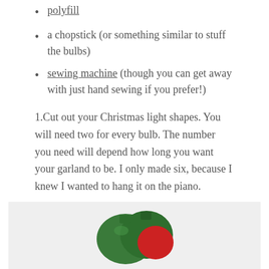polyfill
a chopstick (or something similar to stuff the bulbs)
sewing machine (though you can get away with just hand sewing if you prefer!)
1.Cut out your Christmas light shapes. You will need two for every bulb. The number you need will depend how long you want your garland to be. I only made six, because I knew I wanted to hang it on the piano.
[Figure (photo): Photo of green and red felt Christmas light bulb shapes on a white surface]